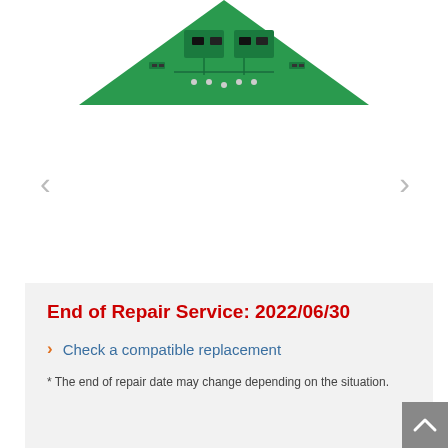[Figure (photo): Green triangular PCB circuit board visible from the top portion of the image, showing electronic components.]
End of Repair Service: 2022/06/30
Check a compatible replacement
* The end of repair date may change depending on the situation.